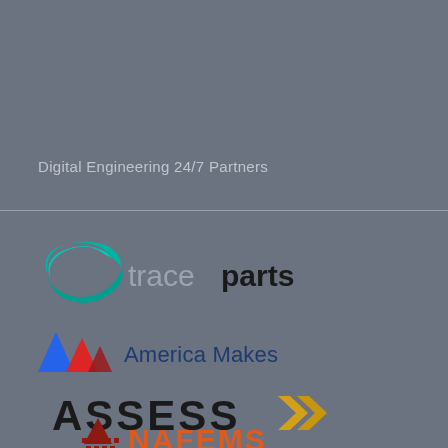Digital Engineering 24/7 Partners
[Figure (logo): TraceParts logo — teal/green swoosh arc on left, 'trace' in light gray sans-serif and 'parts' in dark/black bold sans-serif]
[Figure (logo): America Makes logo — stylized 'AM' initials in blue and red triangular shapes, followed by 'America Makes' text in dark navy]
[Figure (logo): ASSESS logo — 'ASSESS' in large bold dark text followed by two yellow/gold chevron arrows pointing right]
[Figure (logo): NAFEMS logo — triangular dot-pattern pyramid icon in dark red/maroon with 'NAFEMS' text in orange-red]